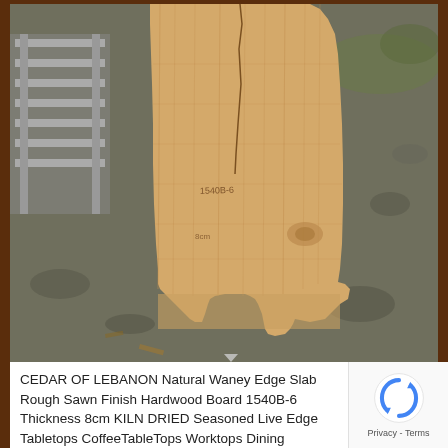[Figure (photo): A large cedar of Lebanon wood slab with natural waney edge, rough sawn finish, photographed outdoors on a gravel/dirt surface. The slab is light golden-brown in color, showing wood grain with a visible crack/split running down the center top portion. Metal stacking equipment is visible on the left. The slab has handwritten markings on its surface.]
CEDAR OF LEBANON Natural Waney Edge Slab Rough Sawn Finish Hardwood Board 1540B-6 Thickness 8cm KILN DRIED Seasoned Live Edge Tabletops CoffeeTableTops Worktops Dining